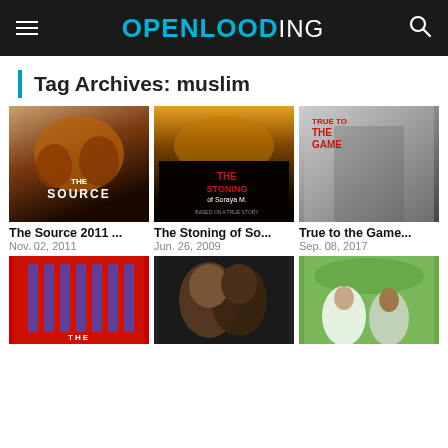OPENLOADING
Tag Archives: muslim
[Figure (photo): Movie poster: The Source 2011]
The Source 2011 ...
Nov. 02, 2011
[Figure (photo): Movie poster: The Stoning of Soraya M.]
The Stoning of So...
Jun. 26, 2009
[Figure (photo): Movie poster: True to the Game]
True to the Game...
Sep. 08, 2017
[Figure (photo): Movie poster with red and purple bars]
[Figure (photo): Movie poster with two people]
[Figure (photo): Movie poster outdoor scene]